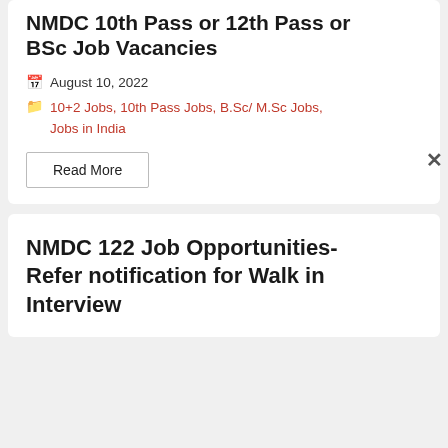NMDC 10th Pass or 12th Pass or BSc Job Vacancies
August 10, 2022
10+2 Jobs, 10th Pass Jobs, B.Sc/M.Sc Jobs, Jobs in India
Read More
NMDC 122 Job Opportunities- Refer notification for Walk in Interview